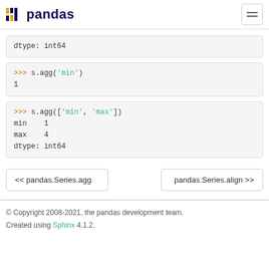pandas
dtype: int64
>>> s.agg('min')
1
>>> s.agg(['min', 'max'])
min    1
max    4
dtype: int64
<< pandas.Series.agg
pandas.Series.align >>
© Copyright 2008-2021, the pandas development team.
Created using Sphinx 4.1.2.